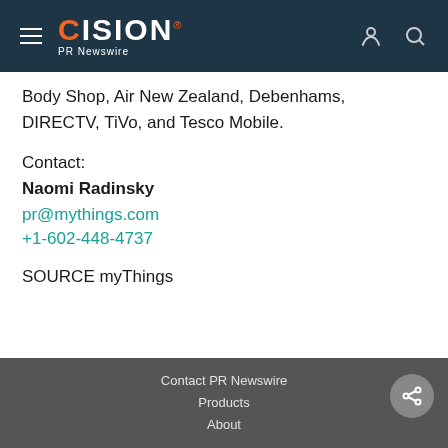CISION PR Newswire
Body Shop, Air New Zealand, Debenhams, DIRECTV, TiVo, and Tesco Mobile.
Contact:
Naomi Radinsky
pr@mythings.com
+1-602-448-4737
SOURCE myThings
Contact PR Newswire
Products
About